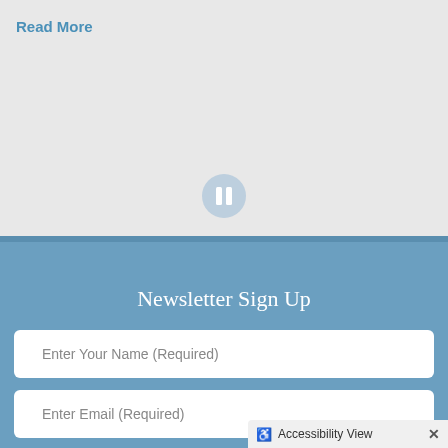Read More
[Figure (other): Gray banner area with a pause button icon in the center]
Newsletter Sign Up
Enter Your Name (Required)
Enter Email (Required)
Accessibility View